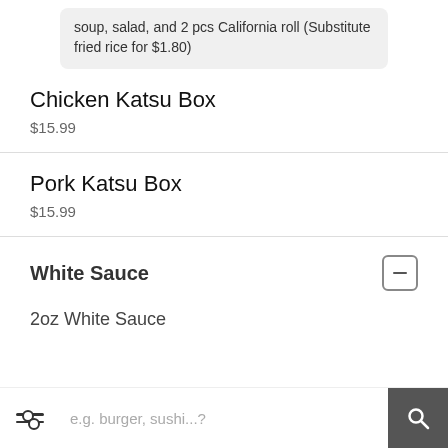soup, salad, and 2 pcs California roll (Substitute fried rice for $1.80)
Chicken Katsu Box
$15.99
Pork Katsu Box
$15.99
White Sauce
2oz White Sauce